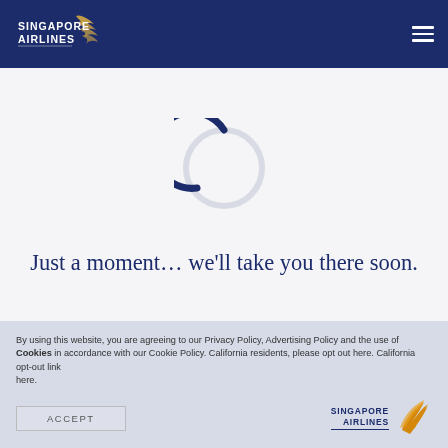[Figure (logo): Singapore Airlines logo in white on dark navy header bar, with bird wing icon]
[Figure (infographic): Circular loading spinner: dark navy blue arc covering top ~270 degrees, light grey arc for remaining portion, on white/light grey background]
Just a moment… we'll take you there soon.
By using this website, you are agreeing to our Privacy Policy, Advertising Policy and the use of Cookies in accordance with our Cookie Policy. California residents, please opt out here. California opt-out link here.
[Figure (logo): Singapore Airlines logo with bird wing icon in gold/orange and navy text at bottom right of cookie consent bar]